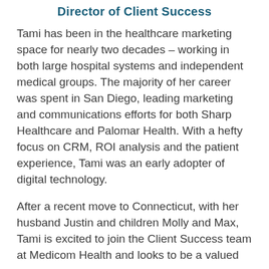Director of Client Success
Tami has been in the healthcare marketing space for nearly two decades – working in both large hospital systems and independent medical groups. The majority of her career was spent in San Diego, leading marketing and communications efforts for both Sharp Healthcare and Palomar Health. With a hefty focus on CRM, ROI analysis and the patient experience, Tami was an early adopter of digital technology.
After a recent move to Connecticut, with her husband Justin and children Molly and Max, Tami is excited to join the Client Success team at Medicom Health and looks to be a valued strategic resource to her clients.